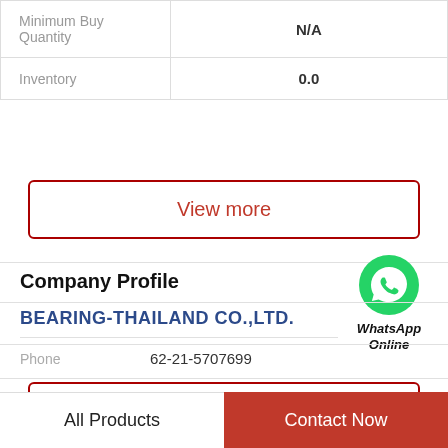| Minimum Buy Quantity | N/A |
| Inventory | 0.0 |
View more
Company Profile
[Figure (logo): WhatsApp green circle icon with phone handset, labeled 'WhatsApp Online']
BEARING-THAILAND CO.,LTD.
Phone   62-21-5707699
View more
All Products
Contact Now